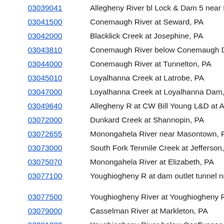03039041 — Allegheny River bl Lock & Dam 5 near Fre...
03041500 — Conemaugh River at Seward, PA
03042000 — Blacklick Creek at Josephine, PA
03043810 — Conemaugh River below Conemaugh Dam...
03044000 — Conemaugh River at Tunnelton, PA
03045010 — Loyalhanna Creek at Latrobe, PA
03047000 — Loyalhanna Creek at Loyalhanna Dam, PA...
03049640 — Allegheny R at CW Bill Young L&D at Acm...
03072000 — Dunkard Creek at Shannopin, PA
03072655 — Monongahela River near Masontown, PA
03073000 — South Fork Tenmile Creek at Jefferson, PA...
03075070 — Monongahela River at Elizabeth, PA
03077100 — Youghiogheny R at dam outlet tunnel nr C...
03077500 — Youghiogheny River at Youghiogheny Rive...
03079000 — Casselman River at Markleton, PA
03081000 — Youghiogheny River below Confluence, PA...
03083500 — Youghiogheny River at Sutersville, PA
03085000 — Monongahela River at Braddock, PA
03085002 — Monongahela R at L&D2 Lower Pool at Br... Left Bank
Right Bank